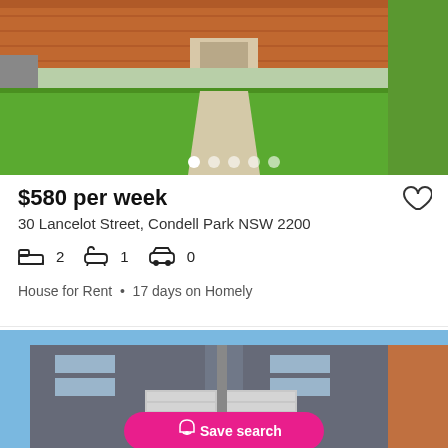[Figure (photo): Exterior photo of a house with red brick facade and green lawn, with a concrete path leading to the entrance. Image carousel dots visible at bottom.]
$580 per week
30 Lancelot Street, Condell Park NSW 2200
2 bedrooms, 1 bathroom, 0 parking
House for Rent • 17 days on Homely
[Figure (photo): Exterior photo of a modern dark brick townhouse/duplex with double garage doors. A pink 'Save search' button overlay is visible at the bottom.]